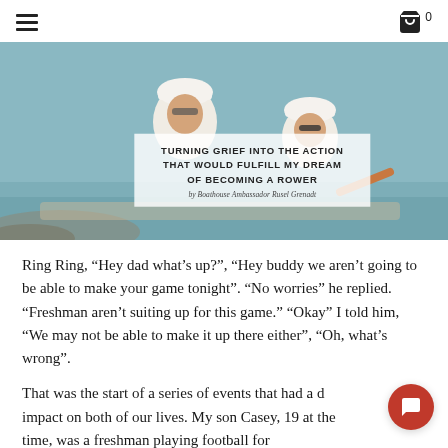Navigation menu and cart icon with count 0
[Figure (photo): Two rowers in white athletic gear rowing on water. Overlay text box reads: TURNING GRIEF INTO THE ACTION THAT WOULD FULFILL MY DREAM OF BECOMING A ROWER by Boathouse Ambassador Rusel Grenadt]
Ring Ring, “Hey dad what’s up?”, “Hey buddy we aren’t going to be able to make your game tonight”. “No worries” he replied. “Freshman aren’t suiting up for this game.” “Okay” I told him, “We may not be able to make it up there either”, “Oh, what’s wrong”.
That was the start of a series of events that had a deep impact on both of our lives. My son Casey, 19 at the time, was a freshman playing football for...